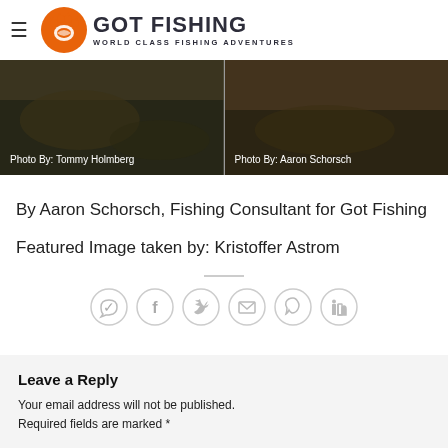GOT FISHING — WORLD CLASS FISHING ADVENTURES
[Figure (photo): Two side-by-side dark nature/fishing photos. Left photo credit: Tommy Holmberg. Right photo credit: Aaron Schorsch.]
Photo By: Tommy Holmberg
Photo By: Aaron Schorsch
By Aaron Schorsch, Fishing Consultant for Got Fishing
Featured Image taken by: Kristoffer Astrom
[Figure (infographic): Row of 6 social share icons: WhatsApp, Facebook, Twitter, Email, Pinterest, LinkedIn]
Leave a Reply
Your email address will not be published. Required fields are marked *